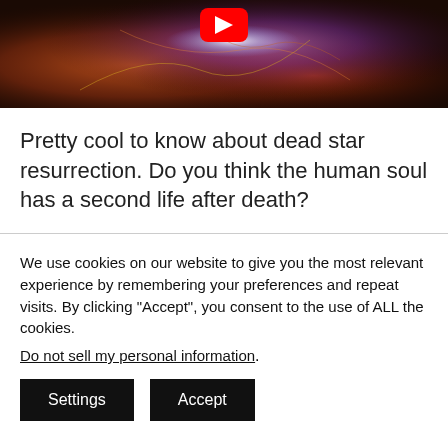[Figure (screenshot): YouTube video thumbnail showing a nebula/space image with a red YouTube play button in the top center]
Pretty cool to know about dead star resurrection. Do you think the human soul has a second life after death?
We use cookies on our website to give you the most relevant experience by remembering your preferences and repeat visits. By clicking “Accept”, you consent to the use of ALL the cookies.
Do not sell my personal information.
Settings  Accept